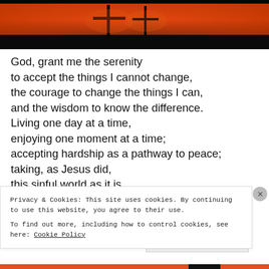[Figure (photo): Sunset/dusk sky with silhouetted crosses or poles against an orange and dark sky]
God, grant me the serenity
to accept the things I cannot change,
the courage to change the things I can,
and the wisdom to know the difference.
Living one day at a time,
enjoying one moment at a time;
accepting hardship as a pathway to peace;
taking, as Jesus did,
this sinful world as it is,
not as I would have it:
Privacy & Cookies: This site uses cookies. By continuing to use this website, you agree to their use.
To find out more, including how to control cookies, see here: Cookie Policy
Close and accept